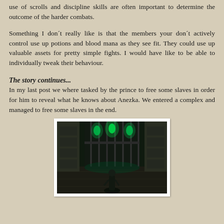use of scrolls and discipline skills are often important to determine the outcome of the harder combats.
Something I don´t really like is that the members your don´t actively control use up potions and blood mana as they see fit. They could use up valuable assets for pretty simple fights. I would have like to be able to individually tweak their behaviour.
The story continues...
In my last post we where tasked by the prince to free some slaves in order for him to reveal what he knows about Anezka. We entered a complex and managed to free some slaves in the end.
[Figure (screenshot): Dark dungeon/complex scene from a video game with green glowing lights and stone walls and a figure in the foreground.]